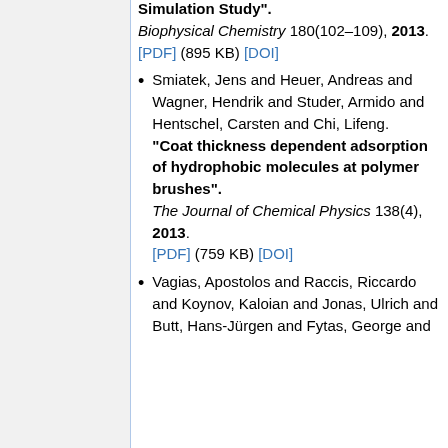Simulation Study". Biophysical Chemistry 180(102–109), 2013. [PDF] (895 KB) [DOI]
Smiatek, Jens and Heuer, Andreas and Wagner, Hendrik and Studer, Armido and Hentschel, Carsten and Chi, Lifeng. "Coat thickness dependent adsorption of hydrophobic molecules at polymer brushes". The Journal of Chemical Physics 138(4), 2013. [PDF] (759 KB) [DOI]
Vagias, Apostolos and Raccis, Riccardo and Koynov, Kaloian and Jonas, Ulrich and Butt, Hans-Jürgen and Fytas, George and